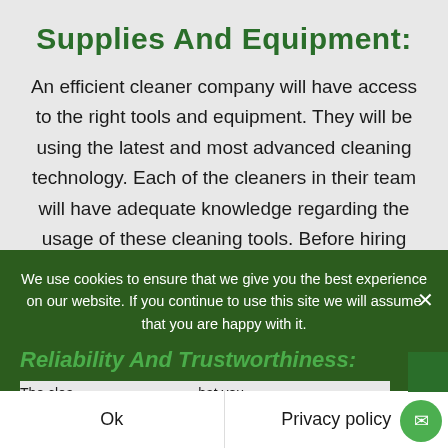Supplies And Equipment:
An efficient cleaner company will have access to the right tools and equipment. They will be using the latest and most advanced cleaning technology. Each of the cleaners in their team will have adequate knowledge regarding the usage of these cleaning tools. Before hiring any Move in/Move out cleaning services, you need to ensure that they have all the necessary gears and mechanisms to offer you the best services.
We use cookies to ensure that we give you the best experience on our website. If you continue to use this site we will assume that you are happy with it.
Ok
Privacy policy
Reliability And Trustworthiness:
The clea... ...hat you can put your trust and money on it. You can also inter...